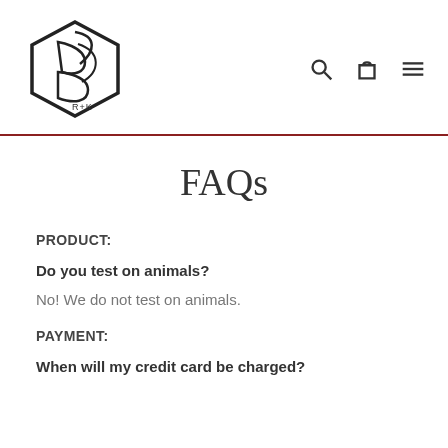R+K logo with navigation icons (search, cart, menu)
FAQs
PRODUCT:
Do you test on animals?
No! We do not test on animals.
PAYMENT:
When will my credit card be charged?